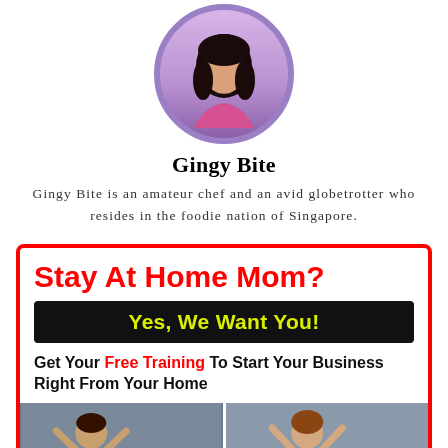[Figure (photo): Circular profile photo of a woman with dark hair, framed with a purple/lavender circular border]
Gingy Bite
Gingy Bite is an amateur chef and an avid globetrotter who resides in the foodie nation of Singapore.
[Figure (infographic): Advertisement banner with red border. Headline 'Stay At Home Mom?' in red bold text. Black banner with yellow text 'Yes, We Want You!'. Text 'Get Your Free Training To Start Your Business Right From Your Home'. Two photos of excited children at bottom.]